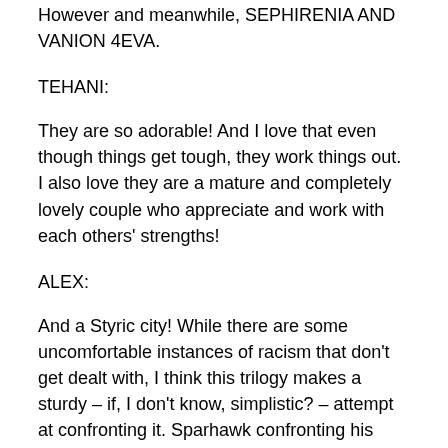However and meanwhile, SEPHIRENIA AND VANION 4EVA.
TEHANI:
They are so adorable! And I love that even though things get tough, they work things out. I also love they are a mature and completely lovely couple who appreciate and work with each others' strengths!
ALEX:
And a Styric city! While there are some uncomfortable instances of racism that don't get dealt with, I think this trilogy makes a sturdy – if, I don't know, simplistic? – attempt at confronting it. Sparhawk confronting his own prejudices – being willing to protect meek and submissive Styrics but being affronted when they're all assertive and